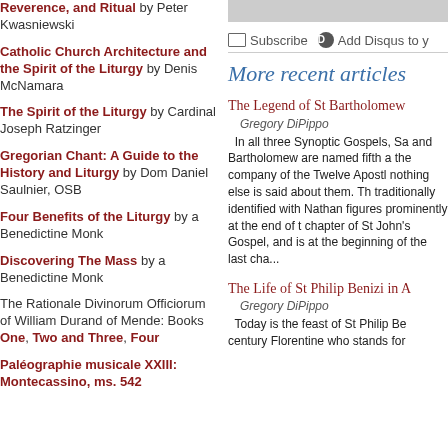Reverence, and Ritual by Peter Kwasniewski
Catholic Church Architecture and the Spirit of the Liturgy by Denis McNamara
The Spirit of the Liturgy by Cardinal Joseph Ratzinger
Gregorian Chant: A Guide to the History and Liturgy by Dom Daniel Saulnier, OSB
Four Benefits of the Liturgy by a Benedictine Monk
Discovering The Mass by a Benedictine Monk
The Rationale Divinorum Officiorum of William Durand of Mende: Books One, Two and Three, Four
Paléographie musicale XXIII: Montecassino, ms. 542
More recent articles
The Legend of St Bartholomew
Gregory DiPippo
In all three Synoptic Gospels, Sa and Bartholomew are named fifth a the company of the Twelve Apostl nothing else is said about them. Th traditionally identified with Nathan figures prominently at the end of t chapter of St John's Gospel, and is at the beginning of the last cha...
The Life of St Philip Benizi in A
Gregory DiPippo
Today is the feast of St Philip Be century Florentine who stands for